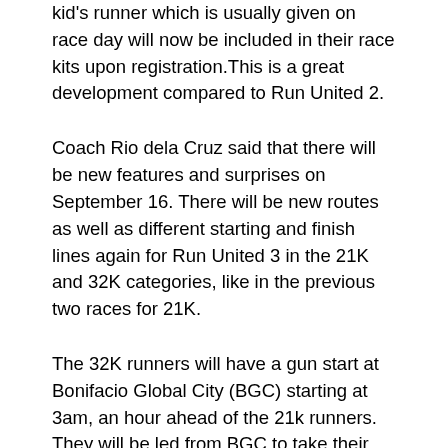kid's runner which is usually given on race day will now be included in their race kits upon registration.This is a great development compared to Run United 2.
Coach Rio dela Cruz said that there will be new features and surprises on September 16. There will be new routes as well as different starting and finish lines again for Run United 3 in the 21K and 32K categories, like in the previous two races for 21K.
The 32K runners will have a gun start at Bonifacio Global City (BGC) starting at 3am, an hour ahead of the 21k runners. They will be led from BGC to take their first 10k in University Parkway area, then move up to Kalayaan Flyover. Then, they will go all the way down to Buendia, take left at Roxas Boulevard, turnaround taking the roads of Vicente Sotto, Diosdado Macapagal and on to EDSA before finally turning left at Seaside Boulevard for the finish at the Mall of Asia (MOA).
The 21k will have an earlier gun start at 4am compared to Run United 2's 430am. They will have the same route as the 32k runners but they only have one category that will switch from...